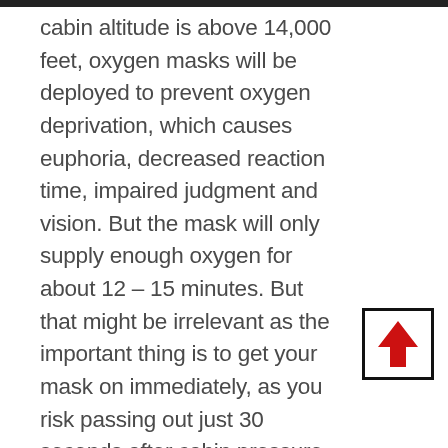cabin altitude is above 14,000 feet, oxygen masks will be deployed to prevent oxygen deprivation, which causes euphoria, decreased reaction time, impaired judgment and vision. But the mask will only supply enough oxygen for about 12 – 15 minutes. But that might be irrelevant as the important thing is to get your mask on immediately, as you risk passing out just 30 seconds after cabin pressure drops to unsafe levels.